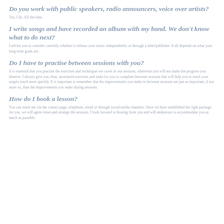Do you work with public speakers, radio announcers, voice over artists?
Yes, I do. All the time.
I write songs and have recorded an album with my band. We don't know what to do next?
I advise you to consider carefully whether to release your music independently or through a label/publisher. It all depends on what your long-term goals are.
Do I have to practise between sessions with you?
It is essential that you practise the exercises and techniques we cover in our sessions, otherwise you will not make the progress you deserve. I always give you clear, structured exercises and tasks for you to complete between sessions that will help you to reach your targets much more quickly. It is important to remember that the improvements you make in between sessions are just as important, if not more so, than the improvements you make during sessions.
How do I book a lesson?
You can reach me via the contact page, telephone, email or through social media channels. Once we have established the right package for you, we will agree times and arrange the sessions. I look forward to hearing from you and will endeavour to accommodate you as much as possible.